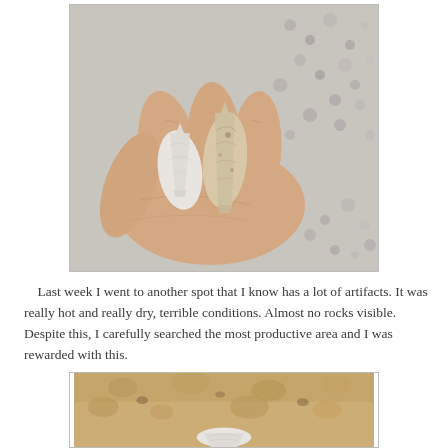[Figure (photo): A hand holding two small white/cream-colored stone arrowheads or lithic artifacts against a gravel/pebble background.]
Last week I went to another spot that I know has a lot of artifacts. It was really hot and really dry, terrible conditions. Almost no rocks visible. Despite this, I carefully searched the most productive area and I was rewarded with this.
[Figure (photo): A white stone artifact (arrowhead or point) partially visible on sandy/pebbly dry ground.]